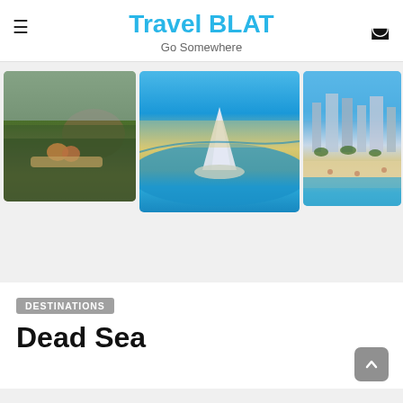Travel BLAT
Go Somewhere
[Figure (photo): Two people with backpacks sitting on a rock overlooking a forested landscape with hills]
[Figure (photo): Aerial view of Dubai coastline with Burj Al Arab hotel and blue ocean]
[Figure (photo): City skyline with skyscrapers and a beach]
DESTINATIONS
Dead Sea